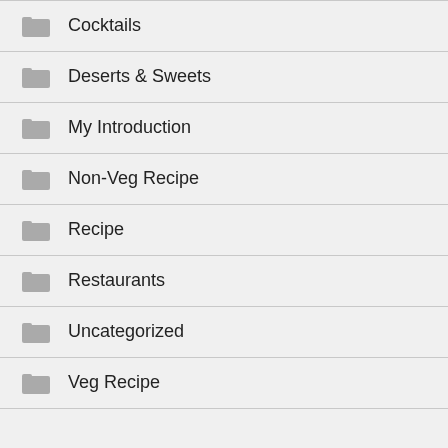Cocktails
Deserts & Sweets
My Introduction
Non-Veg Recipe
Recipe
Restaurants
Uncategorized
Veg Recipe